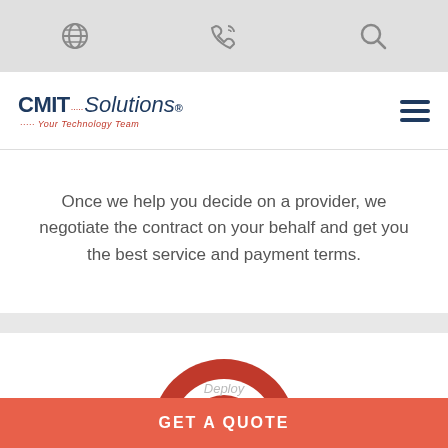Navigation bar with globe icon, phone icon, and search icon
[Figure (logo): CMIT Solutions logo - Your Technology Team, with hamburger menu icon]
Once we help you decide on a provider, we negotiate the contract on your behalf and get you the best service and payment terms.
[Figure (illustration): Red target/bullseye icon with three concentric circles]
Deploy
GET A QUOTE